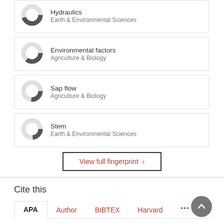Hydraulics / Earth & Environmental Sciences
Environmental factors / Agriculture & Biology
Sap flow / Agriculture & Biology
Stem / Earth & Environmental Sciences
View full fingerprint >
Cite this
APA | Author | BIBTEX | Harvard | ...